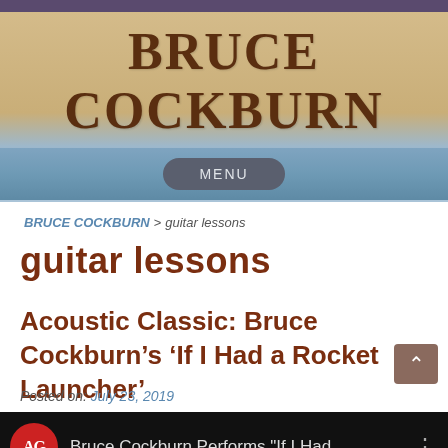BRUCE COCKBURN
MENU
BRUCE COCKBURN > guitar lessons
guitar lessons
Acoustic Classic: Bruce Cockburn’s ‘If I Had a Rocket Launcher’
Posted on: July 23, 2019
[Figure (screenshot): Video thumbnail from YouTube showing Bruce Cockburn performing 'If I Had a Rocket Launcher', with red AG logo circle on left.]